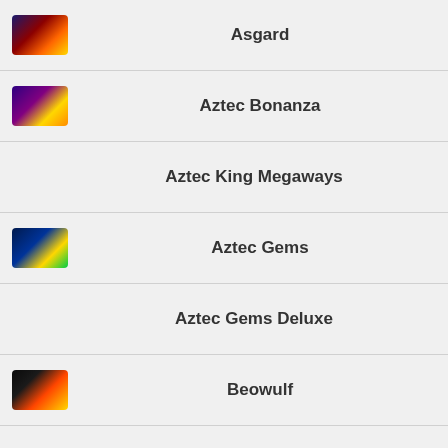Asgard
Aztec Bonanza
Aztec King Megaways
Aztec Gems
Aztec Gems Deluxe
Beowulf
Big Bass Bonanza